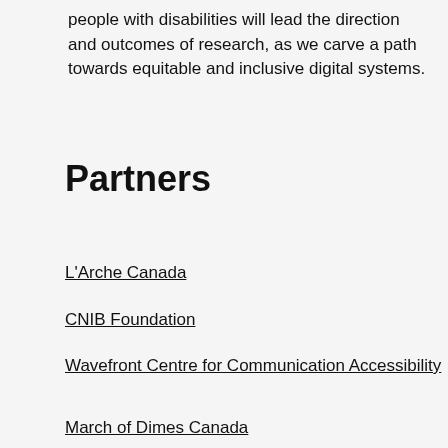people with disabilities will lead the direction and outcomes of research, as we carve a path towards equitable and inclusive digital systems.
Partners
L'Arche Canada
CNIB Foundation
Wavefront Centre for Communication Accessibility
March of Dimes Canada